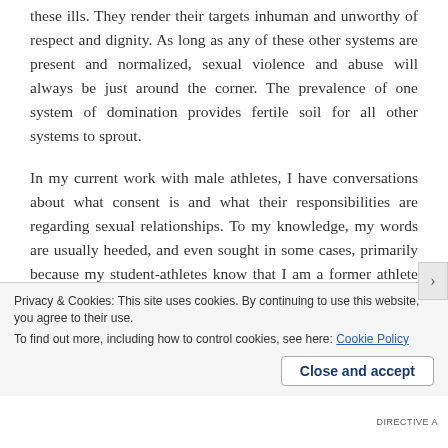these ills. They render their targets inhuman and unworthy of respect and dignity. As long as any of these other systems are present and normalized, sexual violence and abuse will always be just around the corner. The prevalence of one system of domination provides fertile soil for all other systems to sprout.
In my current work with male athletes, I have conversations about what consent is and what their responsibilities are regarding sexual relationships. To my knowledge, my words are usually heeded, and even sought in some cases, primarily because my student-athletes know that I am a former athlete and have walked in their shoes. I help them to understand that, even if they are not committing acts of rape or sexual
Privacy & Cookies: This site uses cookies. By continuing to use this website, you agree to their use.
To find out more, including how to control cookies, see here: Cookie Policy